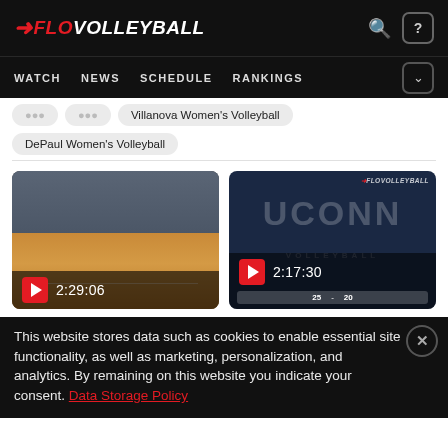FLOVOLLEYBALL — WATCH NEWS SCHEDULE RANKINGS
Villanova Women's Volleyball
DePaul Women's Volleyball
[Figure (screenshot): Video thumbnail showing a volleyball gym with wood court, bleachers, play button and time 2:29:06]
[Figure (screenshot): Video thumbnail showing UConn Volleyball branded screen with play button and time 2:17:30]
This website stores data such as cookies to enable essential site functionality, as well as marketing, personalization, and analytics. By remaining on this website you indicate your consent. Data Storage Policy